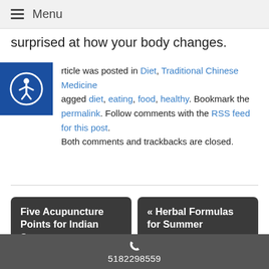Menu
surprised at how your body changes.
This article was posted in Diet, Traditional Chinese Medicine and tagged diet, eating, food, healthy. Bookmark the permalink. Follow comments with the RSS feed for this post. Both comments and trackbacks are closed.
Five Acupuncture Points for Indian Summer »
« Herbal Formulas for Summer
Click here or call to
5182298559